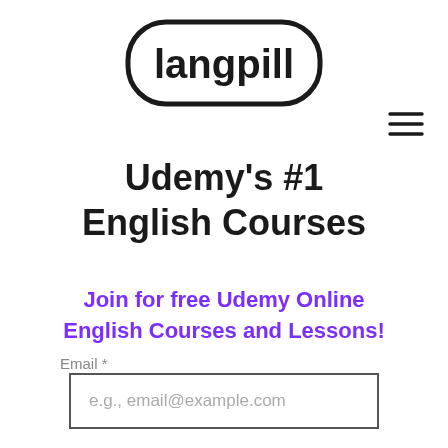[Figure (logo): Langpill logo: bold lowercase text 'langpill' inside a rounded rectangle/pill-shaped border]
[Figure (other): Hamburger menu icon: three horizontal parallel lines]
Udemy's #1 English Courses
Join for free Udemy Online English Courses and Lessons!
Email *
e.g., email@example.com